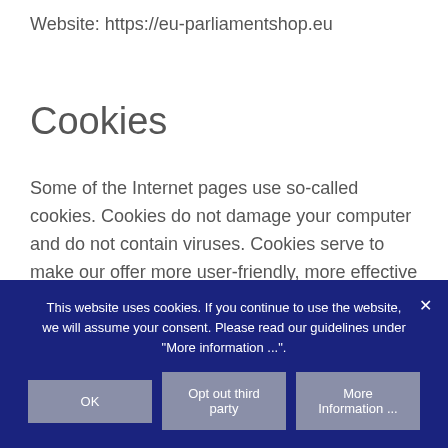Website: https://eu-parliamentshop.eu
Cookies
Some of the Internet pages use so-called cookies. Cookies do not damage your computer and do not contain viruses. Cookies serve to make our offer more user-friendly, more effective and safer. Cookies are small text files which are stored on your
This website uses cookies. If you continue to use the website, we will assume your consent. Please read our guidelines under "More information ...".
OK
Opt out third party
More Information ...